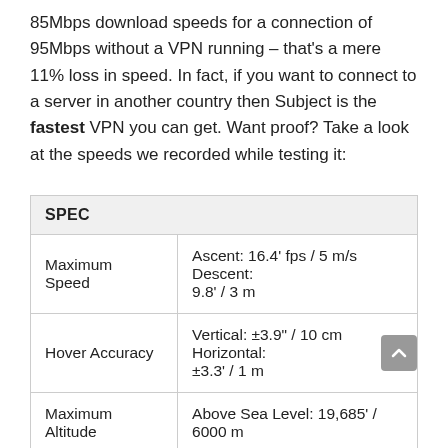85Mbps download speeds for a connection of 95Mbps without a VPN running – that's a mere 11% loss in speed. In fact, if you want to connect to a server in another country then Subject is the fastest VPN you can get. Want proof? Take a look at the speeds we recorded while testing it:
| SPEC |  |
| --- | --- |
| Maximum Speed | Ascent: 16.4' fps / 5 m/s Descent: 9.8' / 3 m |
| Hover Accuracy | Vertical: ±3.9" / 10 cm Horizontal: ±3.3' / 1 m |
| Maximum Altitude | Above Sea Level: 19,685' / 6000 m |
|  | 23 minutes (depending on |